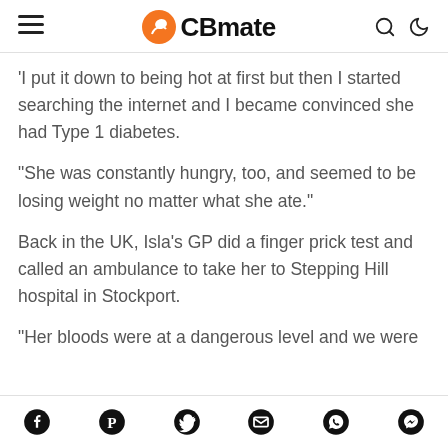CBmate
‘I put it down to being hot at first but then I started searching the internet and I became convinced she had Type 1 diabetes.
“She was constantly hungry, too, and seemed to be losing weight no matter what she ate.”
Back in the UK, Isla’s GP did a finger prick test and called an ambulance to take her to Stepping Hill hospital in Stockport.
“Her bloods were at a dangerous level and we were
Facebook Pinterest Twitter Email WhatsApp Messenger